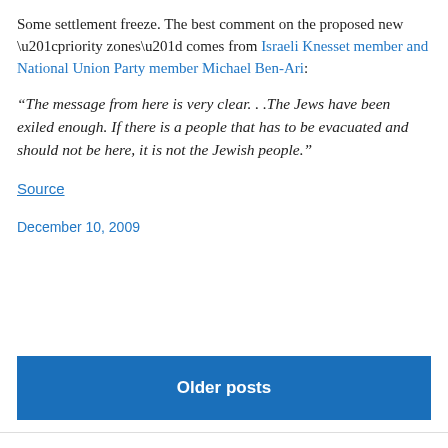Some settlement freeze. The best comment on the proposed new “priority zones” comes from Israeli Knesset member and National Union Party member Michael Ben-Ari:
“The message from here is very clear. . .The Jews have been exiled enough. If there is a people that has to be evacuated and should not be here, it is not the Jewish people.”
Source
December 10, 2009
Older posts